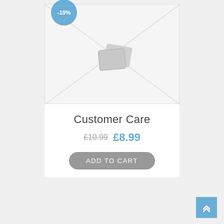[Figure (other): Product image placeholder with diagonal X lines and image icon, with -19% discount badge]
Customer Care
£10.99 £8.99
ADD TO CART